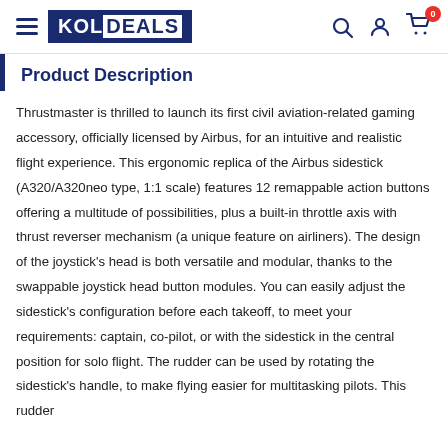KOLDEALS navigation bar
Product Description
Thrustmaster is thrilled to launch its first civil aviation-related gaming accessory, officially licensed by Airbus, for an intuitive and realistic flight experience. This ergonomic replica of the Airbus sidestick (A320/A320neo type, 1:1 scale) features 12 remappable action buttons offering a multitude of possibilities, plus a built-in throttle axis with thrust reverser mechanism (a unique feature on airliners). The design of the joystick's head is both versatile and modular, thanks to the swappable joystick head button modules. You can easily adjust the sidestick's configuration before each takeoff, to meet your requirements: captain, co-pilot, or with the sidestick in the central position for solo flight. The rudder can be used by rotating the sidestick's handle, to make flying easier for multitasking pilots. This rudder